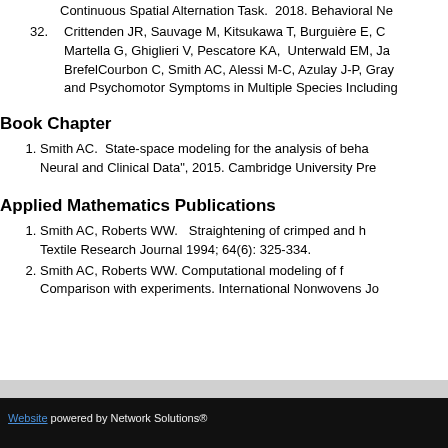Continuous Spatial Alternation Task. 2018. Behavioral Ne
32. Crittenden JR, Sauvage M, Kitsukawa T, Burguière E, C Martella G, Ghiglieri V, Pescatore KA, Unterwald EM, Ja BrefelCourbon C, Smith AC, Alessi M-C, Azulay J-P, Gray and Psychomotor Symptoms in Multiple Species Including
Book Chapter
1. Smith AC. State-space modeling for the analysis of beh Neural and Clinical Data", 2015. Cambridge University Pre
Applied Mathematics Publications
1. Smith AC, Roberts WW.  Straightening of crimped and h Textile Research Journal 1994; 64(6): 325-334.
2. Smith AC, Roberts WW. Computational modeling of f Comparison with experiments. International Nonwovens Jo
Website powered by Network Solutions®